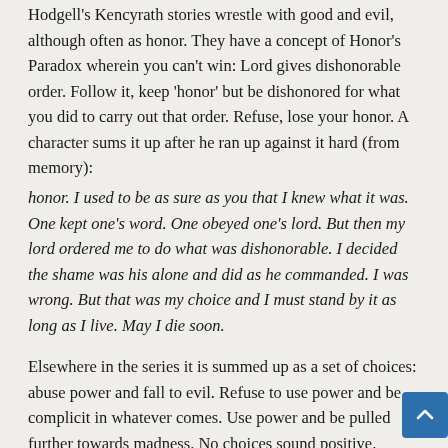Hodgell's Kencyrath stories wrestle with good and evil, although often as honor. They have a concept of Honor's Paradox wherein you can't win: Lord gives dishonorable order. Follow it, keep 'honor' but be dishonored for what you did to carry out that order. Refuse, lose your honor. A character sums it up after he ran up against it hard (from memory):
honor. I used to be as sure as you that I knew what it was. One kept one's word. One obeyed one's lord. But then my lord ordered me to do what was dishonorable. I decided the shame was his alone and did as he commanded. I was wrong. But that was my choice and I must stand by it as long as I live. May I die soon.
Elsewhere in the series it is summed up as a set of choices: abuse power and fall to evil. Refuse to use power and be complicit in whatever comes. Use power and be pulled further towards madness. No choices sound positive.